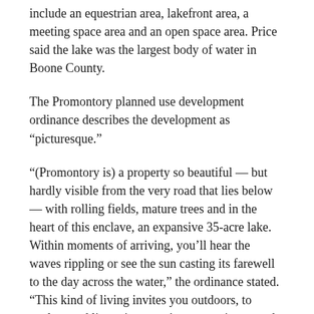include an equestrian area, lakefront area, a meeting space area and an open space area. Price said the lake was the largest body of water in Boone County.
The Promontory planned use development ordinance describes the development as “picturesque.”
“(Promontory is) a property so beautiful — but hardly visible from the very road that lies below — with rolling fields, mature trees and in the heart of this enclave, an expansive 35-acre lake. Within moments of arriving, you’ll hear the waves rippling or see the sun casting its farewell to the day across the water,” the ordinance stated. “This kind of living invites you outdoors, to explore and linger in nature’s community — and quite possibly, providing the ideal balance for those seeking privacy and space. Promontory allows one to enjoy the conveniences of Zionsville, its schools and more, but also allows one to savor nature’s beauty in large, 2-plus acre homesites, expansive settings and